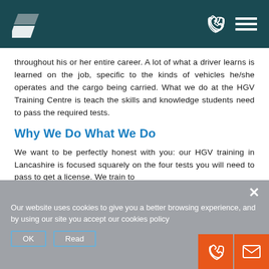HGV Training Centre — Navigation header with logo and menu icons
throughout his or her entire career. A lot of what a driver learns is learned on the job, specific to the kinds of vehicles he/she operates and the cargo being carried. What we do at the HGV Training Centre is teach the skills and knowledge students need to pass the required tests.
Why We Do What We Do
We want to be perfectly honest with you: our HGV training in Lancashire is focused squarely on the four tests you will need to pass to get a license. We train to
Our website uses cookies to give you a better browsing experience, and by using our site you accept our cookies policy